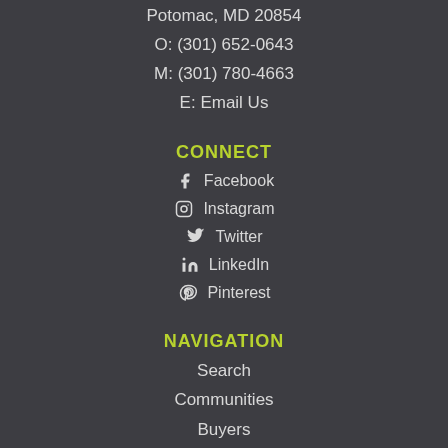Potomac, MD 20854
O: (301) 652-0643
M: (301) 780-4663
E: Email Us
CONNECT
Facebook
Instagram
Twitter
LinkedIn
Pinterest
NAVIGATION
Search
Communities
Buyers
Sellers